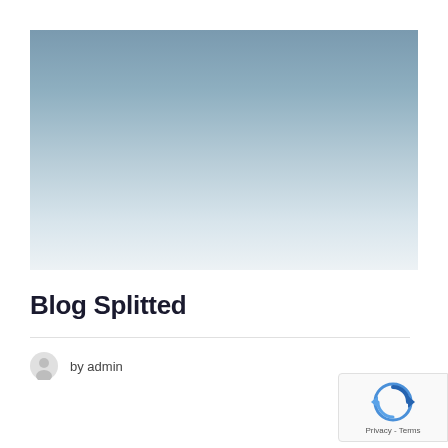[Figure (photo): A pale blue-grey gradient background image, darker at the top and fading to near-white at the bottom, resembling an overcast sky or abstract gradient photograph.]
Blog Splitted
by admin
[Figure (logo): Google reCAPTCHA badge in bottom right corner with reCAPTCHA logo and Privacy - Terms links.]